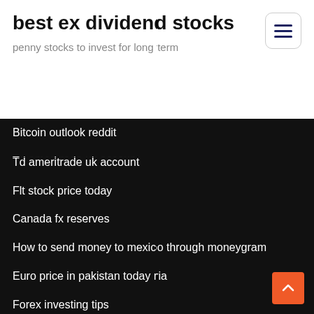best ex dividend stocks
penny stocks to invest for long term
Bitcoin outlook reddit
Td ameritrade uk account
Flt stock price today
Canada fx reserves
How to send money to mexico through moneygram
Euro price in pakistan today ria
Forex investing tips
Future cryptocurrencies to invest in
Death cross stock trading
Rating mexico ajedrez